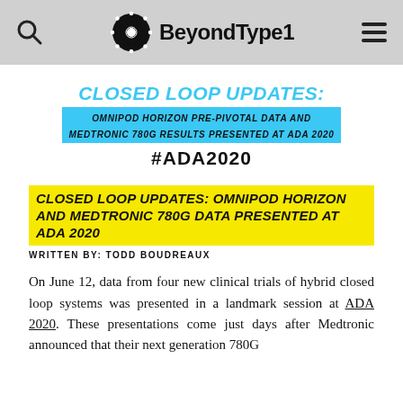Beyond Type 1
CLOSED LOOP UPDATES: OMNIPOD HORIZON PRE-PIVOTAL DATA AND MEDTRONIC 780G RESULTS PRESENTED AT ADA 2020 #ADA2020
CLOSED LOOP UPDATES: OMNIPOD HORIZON AND MEDTRONIC 780G DATA PRESENTED AT ADA 2020
WRITTEN BY: TODD BOUDREAUX
On June 12, data from four new clinical trials of hybrid closed loop systems was presented in a landmark session at ADA 2020. These presentations come just days after Medtronic announced that their next generation 780G